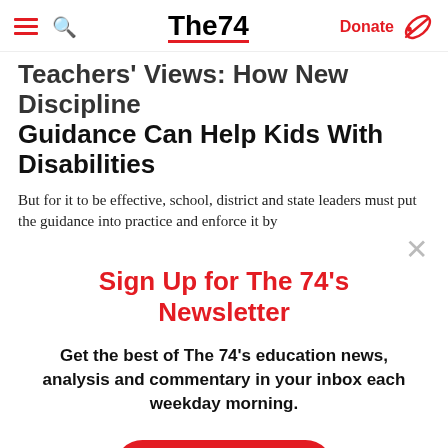The74 | Donate
Teachers' Views: How New Discipline Guidance Can Help Kids With Disabilities
But for it to be effective, school, district and state leaders must put the guidance into practice and enforce it by
Sign Up for The 74's Newsletter
Get the best of The 74's education news, analysis and commentary in your inbox each weekday morning.
Subscribe